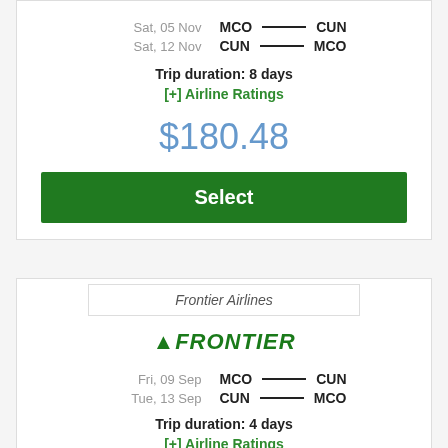Sat, 05 Nov   MCO —— CUN
Sat, 12 Nov   CUN —— MCO
Trip duration: 8 days
[+] Airline Ratings
$180.48
Select
Frontier Airlines
[Figure (logo): Frontier Airlines logo in green bold italic text]
Fri, 09 Sep   MCO —— CUN
Tue, 13 Sep   CUN —— MCO
Trip duration: 4 days
[+] Airline Ratings